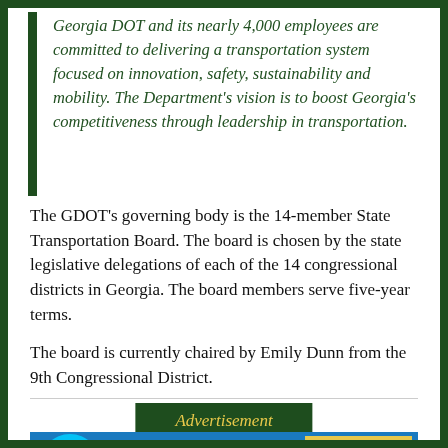Georgia DOT and its nearly 4,000 employees are committed to delivering a transportation system focused on innovation, safety, sustainability and mobility. The Department's vision is to boost Georgia's competitiveness through leadership in transportation.
The GDOT's governing body is the 14-member State Transportation Board. The board is chosen by the state legislative delegations of each of the 14 congressional districts in Georgia. The board members serve five-year terms.
The board is currently chaired by Emily Dunn from the 9th Congressional District.
Advertisement
[Figure (photo): Advertisement banner with blue background showing a circular logo and event details: SATURDAY 10 - SEPT. - 2022, 11AM - 9PM]